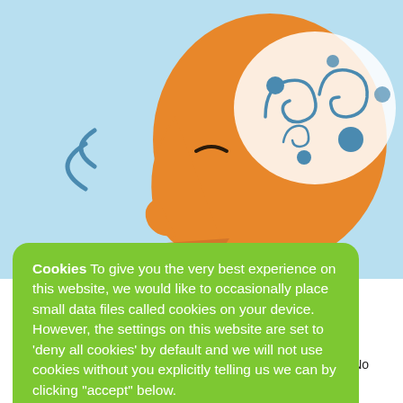[Figure (illustration): Illustration of a stylized orange human head in profile facing left on a light blue background. The head shows swirling blue brain patterns inside the skull area, and blue curved lines coming from the mouth area suggesting breathing or mindfulness.]
'I Am Not
n body. Learn nd anxiety. Our n a different ited thoughts, etc. No need to attend all 4 sessions, try as many as you like!
Cookies To give you the very best experience on this website, we would like to occasionally place small data files called cookies on your device. However, the settings on this website are set to 'deny all cookies' by default and we will not use cookies without you explicitly telling us we can by clicking "accept" below.
Accept
Read more